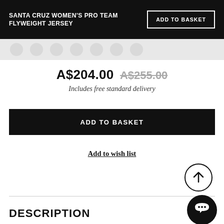SANTA CRUZ WOMEN'S PRO TEAM FLYWEIGHT JERSEY | ADD TO BASKET
A$204.00  A$255.00
Includes free standard delivery
ADD TO BASKET
Add to wish list
DESCRIPTION